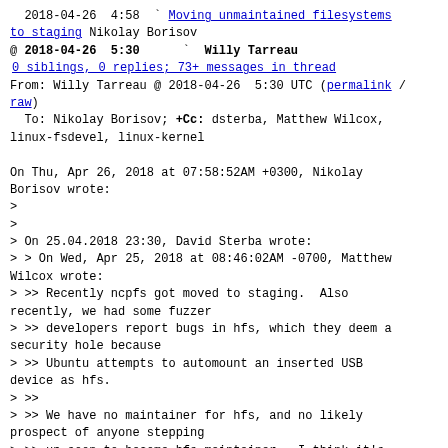2018-04-26  4:58   Moving unmaintained filesystems to staging Nikolay Borisov
@ 2018-04-26  5:30       Willy Tarreau
0 siblings, 0 replies; 73+ messages in thread
From: Willy Tarreau @ 2018-04-26  5:30 UTC (permalink / raw)
To: Nikolay Borisov; +Cc: dsterba, Matthew Wilcox, linux-fsdevel, linux-kernel

On Thu, Apr 26, 2018 at 07:58:52AM +0300, Nikolay Borisov wrote:
>
>
> On 25.04.2018 23:30, David Sterba wrote:
> > On Wed, Apr 25, 2018 at 08:46:02AM -0700, Matthew Wilcox wrote:
> >> Recently ncpfs got moved to staging.  Also recently, we had some fuzzer
> >> developers report bugs in hfs, which they deem a security hole because
> >> Ubuntu attempts to automount an inserted USB device as hfs.
> >>
> >> We have no maintainer for hfs, and no likely prospect of anyone stepping
> >> up soon to become hfs maintainer.  I think it's irresponsible of us
> >> to present unmaintained code on an equal basis with filesystems under
> >> active maintenance like ext2.